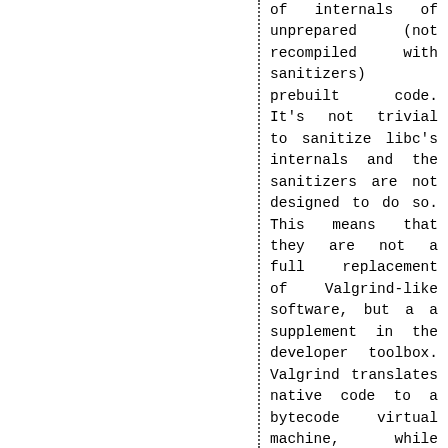of internals of unprepared (not recompiled with sanitizers) prebuilt code. It's not trivial to sanitize libc's internals and the sanitizers are not designed to do so. This means that they are not a full replacement of Valgrind-like software, but a a supplement in the developer toolbox. Valgrind translates native code to a bytecode virtual machine, while sanitizers are designed to work with interceptors inside the pristine elementary libraries (libc, libm, librt, libpthread) and embed functionality into the executable's code.
I've also reverted the vadvise(2) syscall removal, from the previous month. This caused a regression in legacy code recompiled against still supported compat layers. Newly compiled code will use a libc's stub of vadvise(2).
I've also prepared a patch installing dedicated headers for sanitizers along